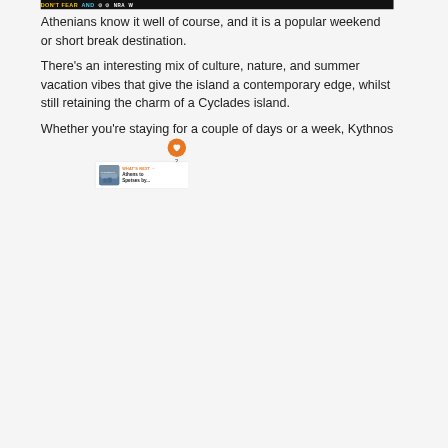[Figure (screenshot): Ad banner at top: dark background with yellow 'DON'T FEAR' text, cyan 'AND' text, NRA logo and branding]
Athenians know it well of course, and it is a popular weekend or short break destination.
There's an interesting mix of culture, nature, and summer vacation vibes that give the island a contemporary edge, whilst still retaining the charm of a Cyclades island.
Whether you're staying for a couple of days or a week, Kythnos